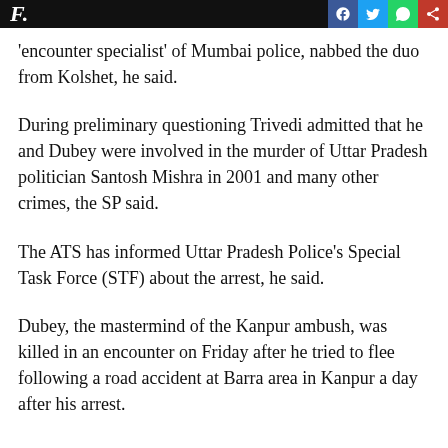Financial Times — social share icons (Facebook, Twitter, WhatsApp, YouTube)
'encounter specialist' of Mumbai police, nabbed the duo from Kolshet, he said.
During preliminary questioning Trivedi admitted that he and Dubey were involved in the murder of Uttar Pradesh politician Santosh Mishra in 2001 and many other crimes, the SP said.
The ATS has informed Uttar Pradesh Police's Special Task Force (STF) about the arrest, he said.
Dubey, the mastermind of the Kanpur ambush, was killed in an encounter on Friday after he tried to flee following a road accident at Barra area in Kanpur a day after his arrest.